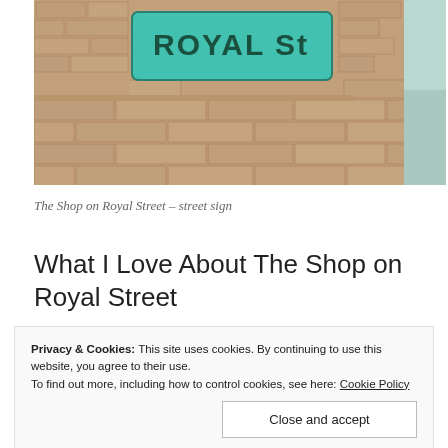[Figure (photo): A photo of a teal/green street sign reading 'ROYAL St' mounted on a tan brick wall. Part of a blue-painted structure is visible on the right side.]
The Shop on Royal Street – street sign
What I Love About The Shop on Royal Street
Privacy & Cookies: This site uses cookies. By continuing to use this website, you agree to their use.
To find out more, including how to control cookies, see here: Cookie Policy
Close and accept
Melanie and Jack: The references to characters from the